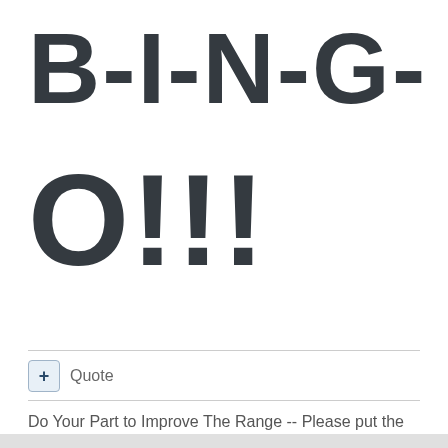B-I-N-G-
O!!!
+ Quote
Do Your Part to Improve The Range -- Please put the TRIO OF TRUMP FLUFFERS™ on IGNORE